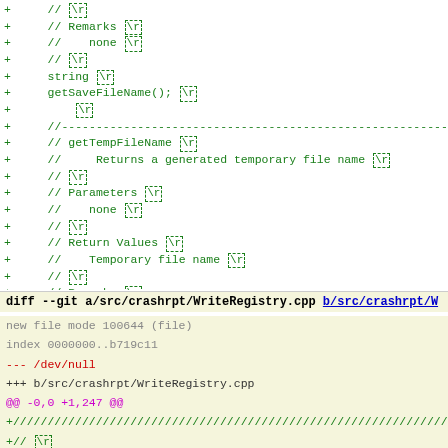diff code lines showing additions to a C++ source file with comments and function declarations
diff --git a/src/crashrpt/WriteRegistry.cpp b/src/crashrpt/W
new file mode 100644 (file)
index 0000000..b719c11
--- /dev/null
+++ b/src/crashrpt/WriteRegistry.cpp
@@ -0,0 +1,247 @@
+////...
+// \r